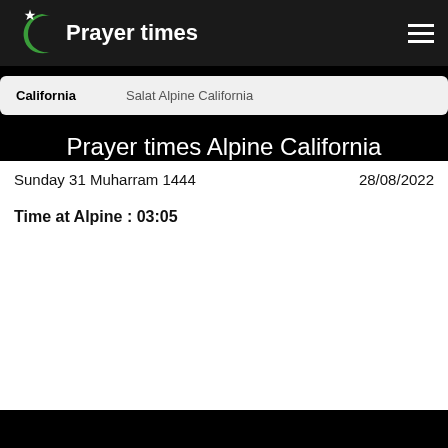Prayer times
California   Salat Alpine California
Prayer times Alpine California
Sunday 31 Muharram 1444    28/08/2022
Time at Alpine : 03:05